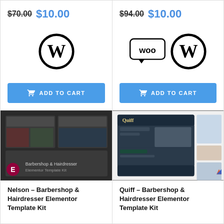$70.00 $10.00
[Figure (logo): WordPress logo (W in circle)]
ADD TO CART
$94.00 $10.00
[Figure (logo): WooCommerce and WordPress logos]
ADD TO CART
[Figure (photo): Nelson Barbershop & Hairdresser Elementor Template Kit product thumbnail with dark theme mockups and Elementor icon]
Nelson – Barbershop & Hairdresser Elementor Template Kit
[Figure (photo): Quiff Barbershop & Hairdresser Elementor Template Kit product thumbnail with teal/dark UI mockups]
Quiff – Barbershop & Hairdresser Elementor Template Kit